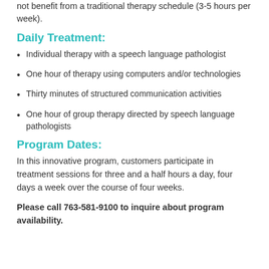not benefit from a traditional therapy schedule (3-5 hours per week).
Daily Treatment:
Individual therapy with a speech language pathologist
One hour of therapy using computers and/or technologies
Thirty minutes of structured communication activities
One hour of group therapy directed by speech language pathologists
Program Dates:
In this innovative program, customers participate in treatment sessions for three and a half hours a day, four days a week over the course of four weeks.
Please call 763-581-9100 to inquire about program availability.